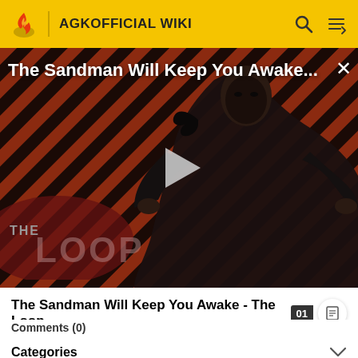AGKOFFICIAL WIKI
[Figure (screenshot): Video thumbnail for 'The Sandman Will Keep You Awake - The Loop' showing a dark-robed figure against a red and black diagonal striped background, with a play button in the center. Overlaid title text reads 'The Sandman Will Keep You Awake...' and a 'THE LOOP' watermark appears in the lower left.]
The Sandman Will Keep You Awake - The Loop
Comments (0)
Categories